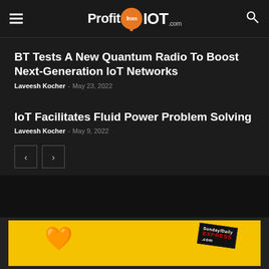ProfitfromIOT.com
BT Tests A New Quantum Radio To Boost Next-Generation IoT Networks
Laveesh Kocher - May 23, 2022
IoT Facilitates Fluid Power Problem Solving
Laveesh Kocher - May 9, 2022
[Figure (screenshot): Pagination buttons with left and right arrows]
[Figure (photo): Advertisement banner with yellow background, orange heart, and Express magazine badge]